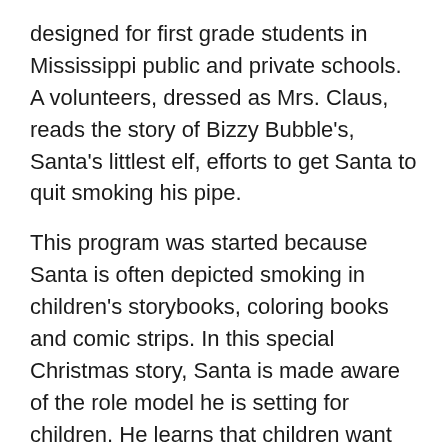designed for first grade students in Mississippi public and private schools. A volunteers, dressed as Mrs. Claus, reads the story of Bizzy Bubble's, Santa's littlest elf, efforts to get Santa to quit smoking his pipe.
This program was started because Santa is often depicted smoking in children's storybooks, coloring books and comic strips. In this special Christmas story, Santa is made aware of the role model he is setting for children. He learns that children want him to quit smoking his pipe and support clean air and lungs. Bizzy becomes the hero in the story as he teaches Santa to blow bubbles out of his pipe rather than smoke.
If you are interested in bringing this program to your school during this year's Christmas season, contact the American Lung Association® of Mississippi